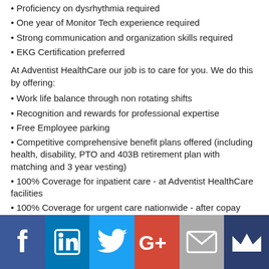• Proficiency on dysrhythmia required
• One year of Monitor Tech experience required
• Strong communication and organization skills required
• EKG Certification preferred
At Adventist HealthCare our job is to care for you. We do this by offering:
• Work life balance through non rotating shifts
• Recognition and rewards for professional expertise
• Free Employee parking
• Competitive comprehensive benefit plans offered (including health, disability, PTO and 403B retirement plan with matching and 3 year vesting)
• 100% Coverage for inpatient care - at Adventist HealthCare facilities
• 100% Coverage for urgent care nationwide - after copay
As a faith-based organization, with over a century of caring
[Figure (infographic): Social media sharing bar with Facebook, LinkedIn, Twitter, Google+, Email, and Mimi buttons]